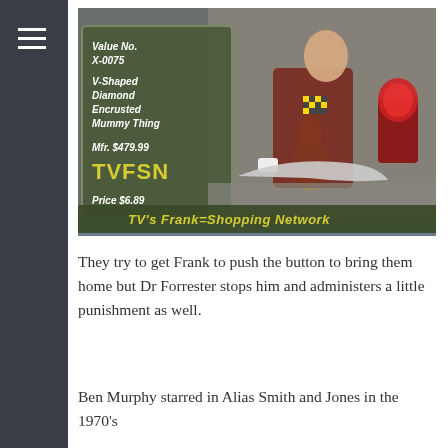[Figure (screenshot): TV screenshot showing a shopping network segment called 'TV's Frank-Shopping Network' (TVFSN). On the left side is a price card overlay reading: Value No. X-0075, V-Shaped Diamond Encrusted Mummy Thing, Mfr. $479.99, TVFSN, Price $6.89. A man in a dark red jumpsuit with white gloves is handling a white boomerang-shaped object on a table. There is a brass trophy, a red gumball machine, and various items on the table. The bottom banner reads 'TV's Frank=Shopping Network'.]
They try to get Frank to push the button to bring them home but Dr Forrester stops him and administers a little punishment as well.
Ben Murphy starred in Alias Smith and Jones in the 1970's